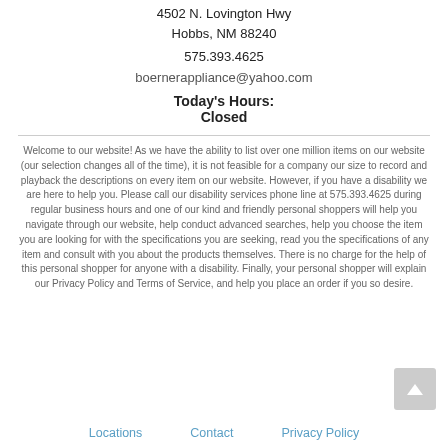4502 N. Lovington Hwy
Hobbs, NM 88240
575.393.4625
boernerappliance@yahoo.com
Today's Hours:
Closed
Welcome to our website! As we have the ability to list over one million items on our website (our selection changes all of the time), it is not feasible for a company our size to record and playback the descriptions on every item on our website. However, if you have a disability we are here to help you. Please call our disability services phone line at 575.393.4625 during regular business hours and one of our kind and friendly personal shoppers will help you navigate through our website, help conduct advanced searches, help you choose the item you are looking for with the specifications you are seeking, read you the specifications of any item and consult with you about the products themselves. There is no charge for the help of this personal shopper for anyone with a disability. Finally, your personal shopper will explain our Privacy Policy and Terms of Service, and help you place an order if you so desire.
Locations   Contact   Privacy Policy